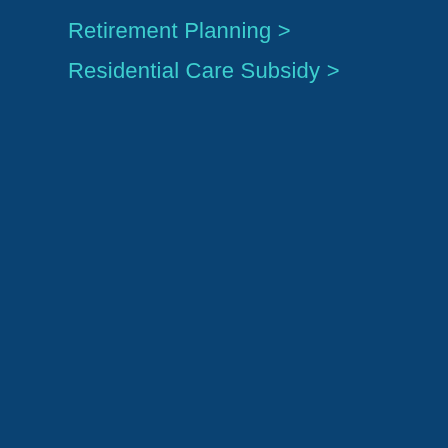Retirement Planning >
Residential Care Subsidy >